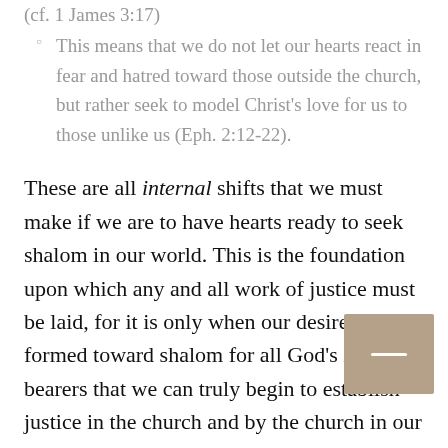(cf. 1 James 3:17)
This means that we do not let our hearts react in fear and hatred toward those outside the church, but rather seek to model Christ's love for us to those unlike us (Eph. 2:12-22).
These are all internal shifts that we must make if we are to have hearts ready to seek shalom in our world. This is the foundation upon which any and all work of justice must be laid, for it is only when our desires are formed toward shalom for all God's image bearers that we can truly begin to establish justice in the church and by the church in our communities.
So, the question for us is, who is forming